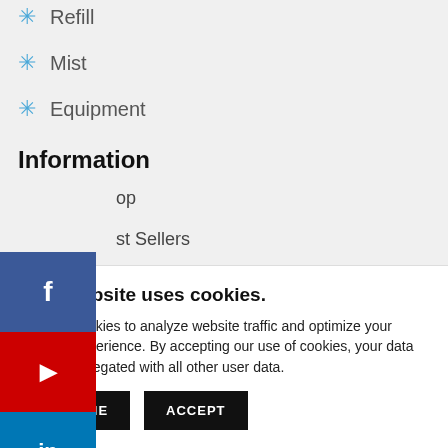Refill
Mist
Equipment
Information
op
st Sellers
ews
[Figure (infographic): Social media sidebar with Facebook, YouTube, and LinkedIn buttons]
This website uses cookies.
We use cookies to analyze website traffic and optimize your website experience. By accepting our use of cookies, your data will be aggregated with all other user data.
DECLINE   ACCEPT